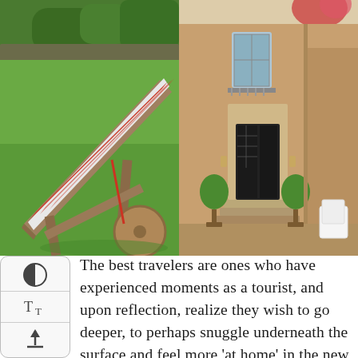[Figure (photo): Two side-by-side outdoor/travel photos: left shows a wooden sun lounger with red-and-white striped cushion on a green lawn with trees; right shows the entrance of a French-style stone building with steps, topiary plants, and a white garden chair.]
The best travelers are ones who have experienced moments as a tourist, and upon reflection, realize they wish to go deeper, to perhaps snuggle underneath the surface and feel more 'at home' in the new land or land away from home they find themselves.